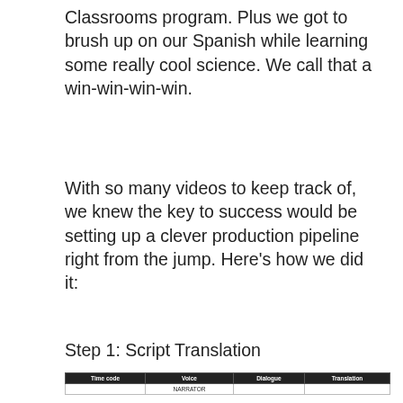Classrooms program. Plus we got to brush up on our Spanish while learning some really cool science. We call that a win-win-win-win.
With so many videos to keep track of, we knew the key to success would be setting up a clever production pipeline right from the jump. Here's how we did it:
Step 1: Script Translation
| Time code | Voice | Dialogue | Translation |
| --- | --- | --- | --- |
|  | NARRATOR |  |  |